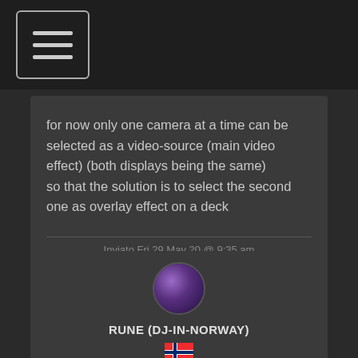[Figure (other): Navigation menu button with three horizontal lines (hamburger icon) in top-left corner on dark bar]
for now only one camera at a time can be selected as a video-source (main video effect) (both displays being the same)
so that the solution is to select the second one as overlay effect on a deck
Inviato Fri 29 May 20 @ 9:35 am
[Figure (photo): Circular avatar of user RUNE (DJ-IN-NORWAY) with dark purple tones]
RUNE (DJ-IN-NORWAY)
[Figure (other): Norwegian flag emoji]
★ ★ ★ ★ ★ ★ ★ ★ ★ ★ ★ ★ ★
Renz Werner wrote: